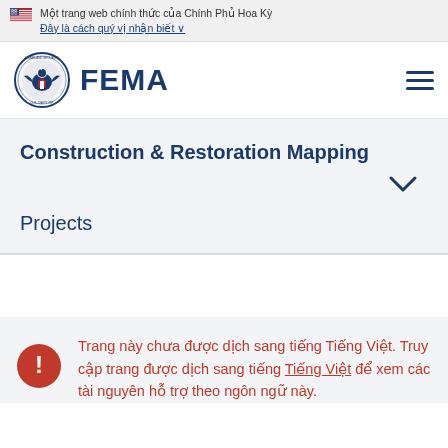Một trang web chính thức của Chính Phủ Hoa Kỳ
Đây là cách quý vị nhận biết
[Figure (logo): FEMA logo with DHS seal and FEMA text]
Construction & Restoration Mapping
Projects
Trang này chưa được dịch sang tiếng Tiếng Việt. Truy cập trang được dịch sang tiếng Tiếng Việt để xem các tài nguyên hỗ trợ theo ngôn ngữ này.